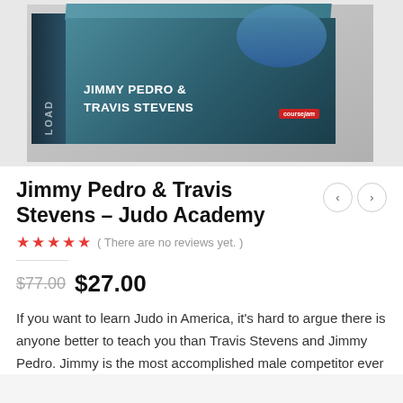[Figure (photo): Product box image showing a 3D box with text 'JIMMY PEDRO & TRAVIS STEVENS' on the front face, a person in a blue judo gi on top, and a CourseJam logo badge. The box has a dark teal/blue metallic finish.]
Jimmy Pedro & Travis Stevens – Judo Academy
( There are no reviews yet. )
$77.00  $27.00
If you want to learn Judo in America, it's hard to argue there is anyone better to teach you than Travis Stevens and Jimmy Pedro. Jimmy is the most accomplished male competitor ever